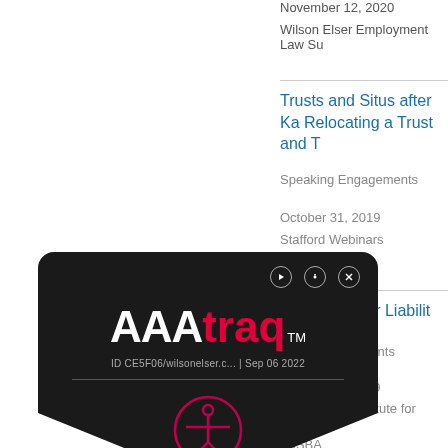November 12, 2020
Wilson Elser Employment Law Su
Trusts and Situs after Ka Relocating a Trust and T
Speaking Engagements
October 31, 2019
Stafford Webinars
urance Broker Liabilit
aking Engagements
October 22, 2019
New Jersey Institute for Continuin NJSBA
[Figure (logo): AAAtraq accessibility tracking logo overlay on dark background with shield shape, showing control buttons, AAA in white and traq in red, TM mark, ID tag, and accessibility icon]